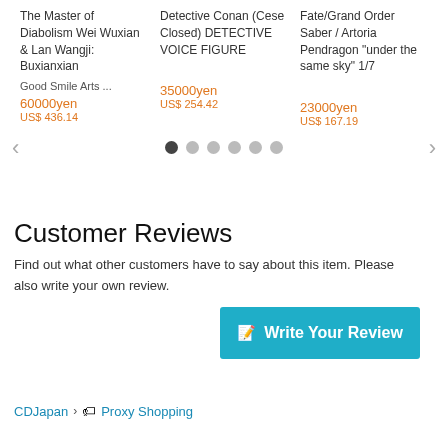The Master of Diabolism Wei Wuxian & Lan Wangji: Buxianxian
Detective Conan (Cese Closed) DETECTIVE VOICE FIGURE
Fate/Grand Order Saber / Artoria Pendragon "under the same sky" 1/7
Good Smile Arts ...
60000yen
US$ 436.14
35000yen
US$ 254.42
23000yen
US$ 167.19
Customer Reviews
Find out what other customers have to say about this item. Please also write your own review.
Write Your Review
CDJapan > Proxy Shopping